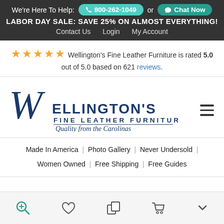We're Here To Help: 800-262-1049 or Chat Now
LABOR DAY SALE: SAVE 25% ON ALMOST EVERYTHING!
Contact Us  Login  My Account
Wellington's Fine Leather Furniture is rated 5.0 out of 5.0 based on 621 reviews.
[Figure (logo): Wellington's Fine Leather Furniture logo with script W and subtitle 'Quality from the Carolinas']
Made In America  |  Photo Gallery  |  Never Undersold  |  Women Owned  |  Free Shipping  |  Free Guides
Search  Wishlist  Compare  Cart  More